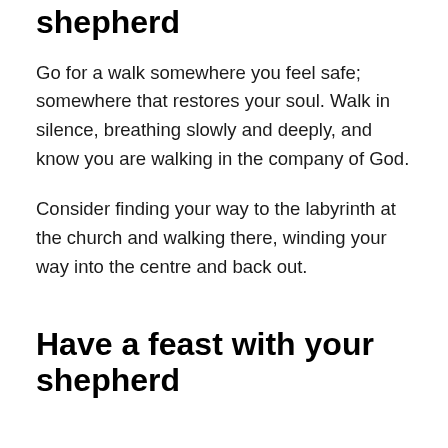Go for a walk with your shepherd
Go for a walk somewhere you feel safe; somewhere that restores your soul. Walk in silence, breathing slowly and deeply, and know you are walking in the company of God.
Consider finding your way to the labyrinth at the church and walking there, winding your way into the centre and back out.
Have a feast with your shepherd